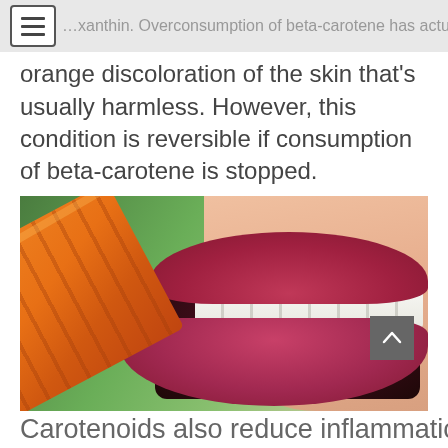…xanthin. Overconsumption of beta-carotene has actually been known to cause carotenosis, an
orange discoloration of the skin that's usually harmless. However, this condition is reversible if consumption of beta-carotene is stopped.
[Figure (photo): Close-up photo of a person with red lips biting into a raw carrot]
Carotenoids also reduce inflammation. The